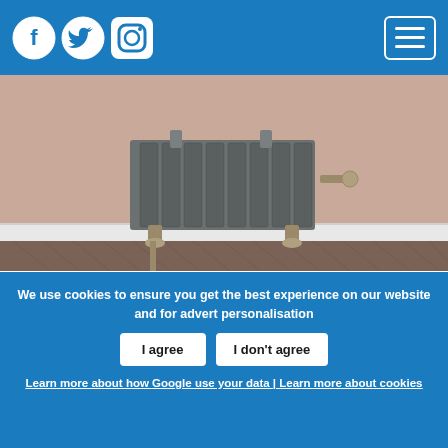Social media icons (Facebook, Twitter, Instagram) and hamburger menu
[Figure (photo): A vintage cast iron radiator against a pink/mauve wall with white skirting boards and dark wood herringbone floor]
It's not easy to maintain a period property and unless you're undertaking a renovation, you are unlikely to find certain period characteristics in your finished project. Here's how to achieve the feel of a period home without the price tag.
Pendants and chandeliers
[Figure (photo): Partial view of pendant lights hanging from ceiling with panelled walls visible]
We use cookies to ensure you get the best experience on our website and for advert personalisation | I agree | I don't agree | Learn more about how Google use your data | Learn more about cookies